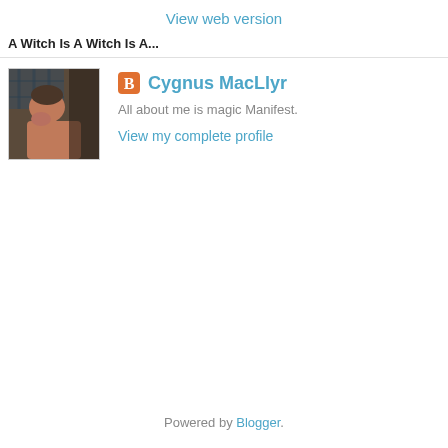View web version
A Witch Is A Witch Is A...
[Figure (photo): Profile photo of a person lying down, partially covered by a blanket]
Cygnus MacLlyr
All about me is magic Manifest.
View my complete profile
Powered by Blogger.